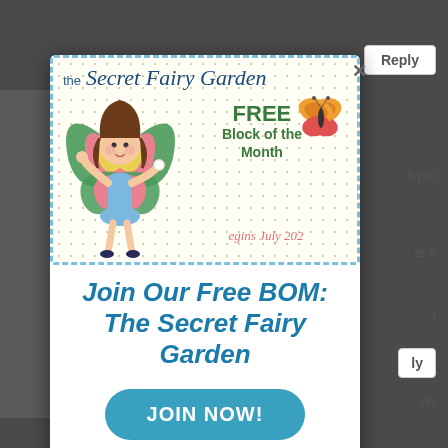[Figure (illustration): Advertisement popup for 'The Secret Fairy Garden' Free Block of the Month quilt program. Shows a fairy girl with colorful butterfly wings, a butterfly illustration, and text about a free BOM beginning July 2021. The popup has a dashed blue border on a cream dotted background.]
Join Our Free BOM: The Secret Fairy Garden
JOIN NOW!